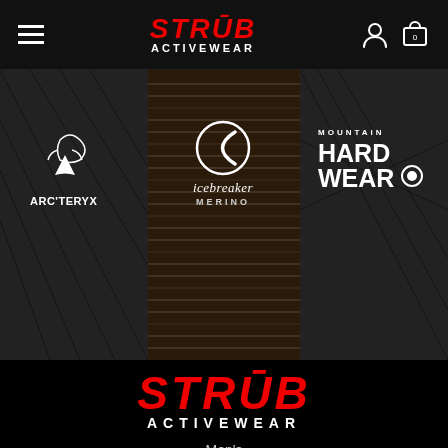STRÜB ACTIVEWEAR — navigation bar with hamburger menu, logo, and cart icon (0)
[Figure (photo): Hero banner image showing dark metal staircase/grating with brand logos: ARC'TERYX on left, icebreaker MERINO in center, MOUNTAIN HARD WEAR on right, all displayed in white against dark textured background]
STRÜB ACTIVEWEAR
Men's
Women's